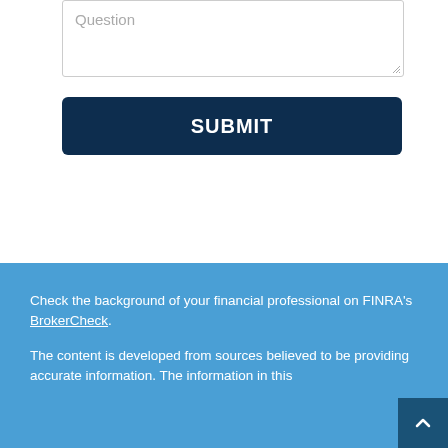[Figure (screenshot): Text area input field with placeholder text 'Question' and a resize handle in the bottom right corner]
SUBMIT
Check the background of your financial professional on FINRA's BrokerCheck.
The content is developed from sources believed to be providing accurate information. The information in this